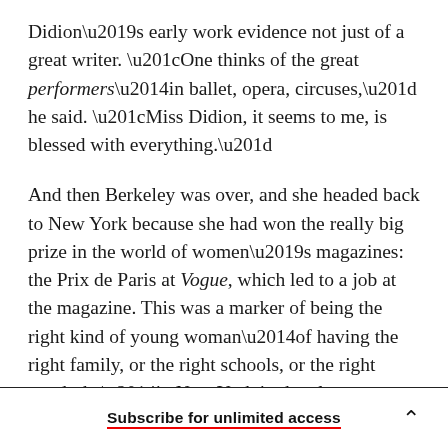Didion’s early work evidence not just of a great writer. “One thinks of the great performers—in ballet, opera, circuses,” he said. “Miss Didion, it seems to me, is blessed with everything.”
And then Berkeley was over, and she headed back to New York because she had won the really big prize in the world of women’s magazines: the Prix de Paris at Vogue, which led to a job at the magazine. This was a marker of being the right kind of young woman—of having the right family, or the right schools, or the right wardrobe—in New York in the glamorous 1950s.
Subscribe for unlimited access